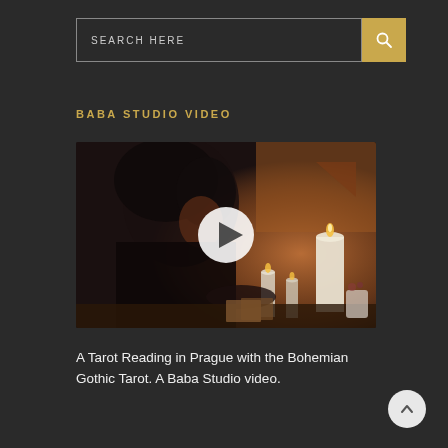SEARCH HERE
BABA STUDIO VIDEO
[Figure (photo): A woman with curly dark hair reading tarot cards by candlelight in a warmly lit room. A large white play button overlay is centered on the image, indicating a video thumbnail.]
A Tarot Reading in Prague with the Bohemian Gothic Tarot. A Baba Studio video.